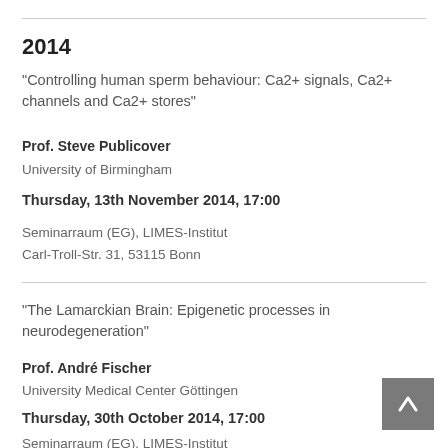2014
"Controlling human sperm behaviour: Ca2+ signals, Ca2+ channels and Ca2+ stores"
Prof. Steve Publicover
University of Birmingham
Thursday, 13th November 2014, 17:00
Seminarraum (EG), LIMES-Institut
Carl-Troll-Str. 31, 53115 Bonn
"The Lamarckian Brain: Epigenetic processes in neurodegeneration"
Prof. André Fischer
University Medical Center Göttingen
Thursday, 30th October 2014, 17:00
Seminarraum (EG), LIMES-Institut